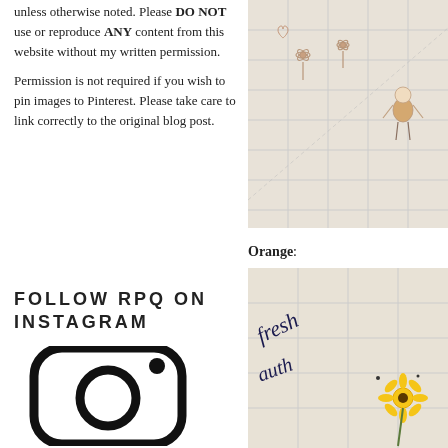unless otherwise noted. Please DO NOT use or reproduce ANY content from this website without my written permission.

Permission is not required if you wish to pin images to Pinterest. Please take care to link correctly to the original blog post.
[Figure (photo): Close-up photo of a white quilted fabric with embroidered flowers and a girl figure in a light brown dress]
Orange:
FOLLOW RPQ ON INSTAGRAM
[Figure (illustration): Instagram logo icon - black outline of a rounded square camera icon with a circle lens and small dot]
[Figure (photo): Close-up photo of a quilted fabric with cursive text and yellow sunflower embroidery on white background]